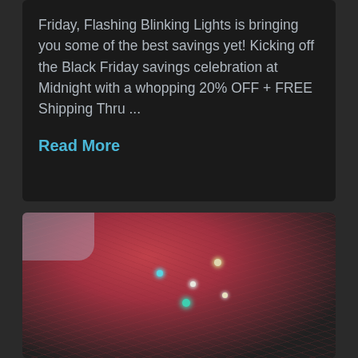Friday, Flashing Blinking Lights is bringing you some of the best savings yet! Kicking off the Black Friday savings celebration at Midnight with a whopping 20% OFF + FREE Shipping Thru ...
Read More
[Figure (photo): A person with pink/red braided hair adorned with small lights and beads, viewed from behind at an angle showing their profile.]